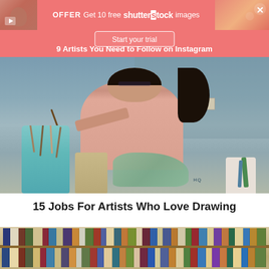[Figure (screenshot): Shutterstock promotional banner: OFFER Get 10 free shutterstock images, with a Start your trial button, and subtitle '9 Artists You Need to Follow on Instagram']
[Figure (photo): A young woman with dark hair and glasses, wearing a pink sweater, sitting at an art desk with paintbrushes in cups in the foreground, smiling at the camera]
15 Jobs For Artists Who Love Drawing
[Figure (photo): Bookshelves filled with books, partial view at the bottom of the page]